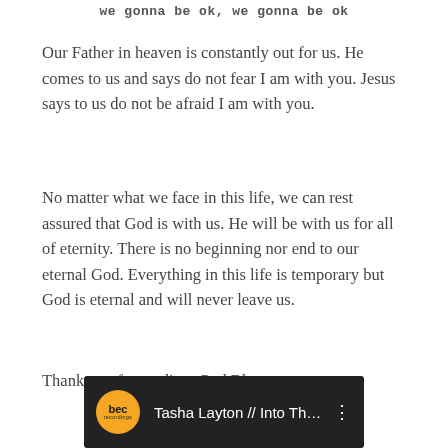we gonna be ok, we gonna be ok
Our Father in heaven is constantly out for us. He comes to us and says do not fear I am with you. Jesus says to us do not be afraid I am with you.
No matter what we face in this life, we can rest assured that God is with us. He will be with us for all of eternity. There is no beginning nor end to our eternal God. Everything in this life is temporary but God is eternal and will never leave us.
Thank you for reading. God Bless.
[Figure (screenshot): YouTube video thumbnail for 'Tasha Layton // Into The Sea...' with the BEC Recordings logo (orange circle with 'bec' text) on a dark background]